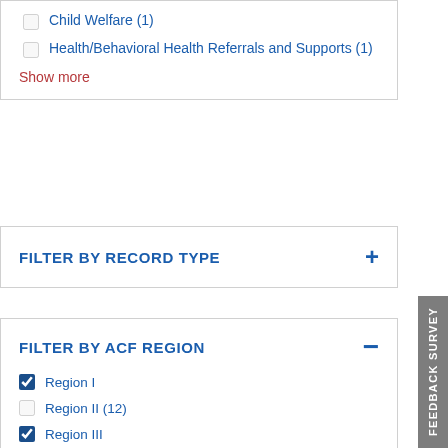Child Welfare (1)
Health/Behavioral Health Referrals and Supports (1)
Show more
FILTER BY RECORD TYPE
FILTER BY ACF REGION
Region I
Region II (12)
Region III
Region IV (12)
Region V (12)
Region VI (12)
Region VII (12)
Region VIII (12)
Region IX (12)